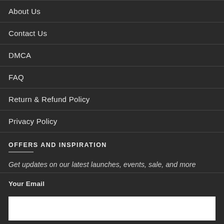About Us
Contact Us
DMCA
FAQ
Return & Refund Policy
Privacy Policy
OFFERS AND INSPIRATION
Get updates on our latest launches, events, sale, and more
Your Email